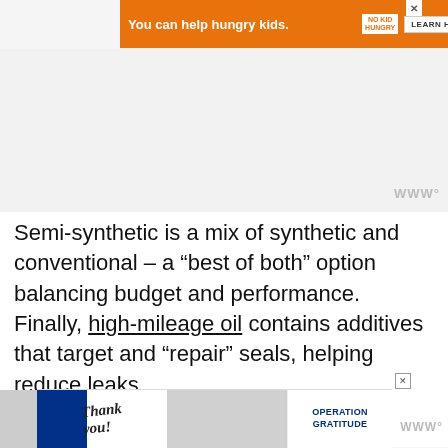[Figure (other): Orange advertisement banner: 'You can help hungry kids.' with No Kid Hungry logo and LEARN HOW button]
Semi-synthetic is a mix of synthetic and conventional – a “best of both” option balancing budget and performance. Finally, high-mileage oil contains additives that target and “repair” seals, helping reduce leaks.
Does Engine Oil Freeze?
[Figure (other): Operation Gratitude advertisement banner with 'Thank you!' text and patriotic imagery]